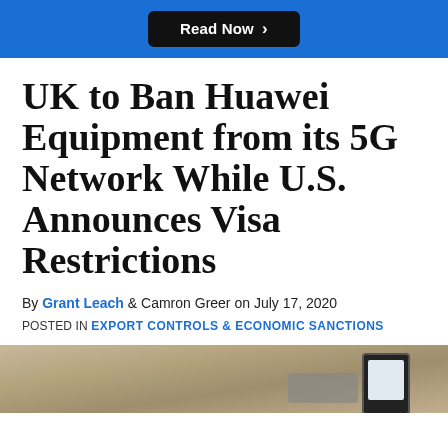Read Now >
UK to Ban Huawei Equipment from its 5G Network While U.S. Announces Visa Restrictions
By Grant Leach & Camron Greer on July 17, 2020
POSTED IN EXPORT CONTROLS & ECONOMIC SANCTIONS
[Figure (photo): Photo of a smartphone and keyboard on a wooden desk surface]